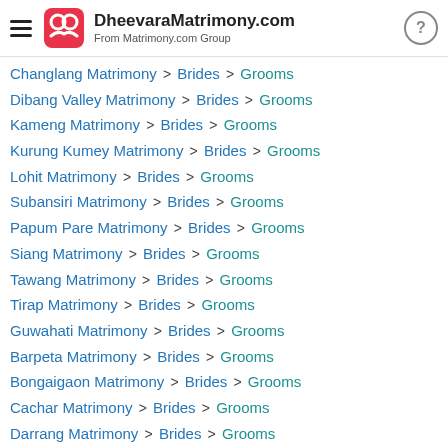DheevaraMatrimony.com — From Matrimony.com Group
Changlang Matrimony > Brides > Grooms
Dibang Valley Matrimony > Brides > Grooms
Kameng Matrimony > Brides > Grooms
Kurung Kumey Matrimony > Brides > Grooms
Lohit Matrimony > Brides > Grooms
Subansiri Matrimony > Brides > Grooms
Papum Pare Matrimony > Brides > Grooms
Siang Matrimony > Brides > Grooms
Tawang Matrimony > Brides > Grooms
Tirap Matrimony > Brides > Grooms
Guwahati Matrimony > Brides > Grooms
Barpeta Matrimony > Brides > Grooms
Bongaigaon Matrimony > Brides > Grooms
Cachar Matrimony > Brides > Grooms
Darrang Matrimony > Brides > Grooms
Dhemaji Matrimony > Brides > Grooms
Dhubri Matrimony > Brides > Grooms
Dibrugarh Matrimony > Brides > Grooms